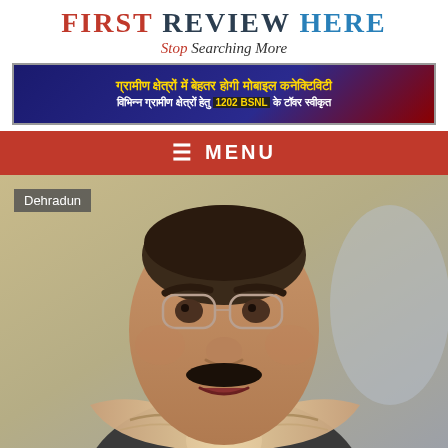FIRST REVIEW HERE — Stop Searching More
[Figure (photo): Advertisement banner in Hindi: ग्रामीण क्षेत्रों में बेहतर होगी मोबाइल कनेक्टिविटी — विभिन्न ग्रामीण क्षेत्रों हेतु 1202 BSNL के टॉवर स्वीकृत]
≡ MENU
[Figure (photo): Photo of a middle-aged Indian man wearing glasses, a white collared shirt, and a striped shawl/scarf. He appears to be speaking. A 'Dehradun' location label appears in the top-left corner of the image.]